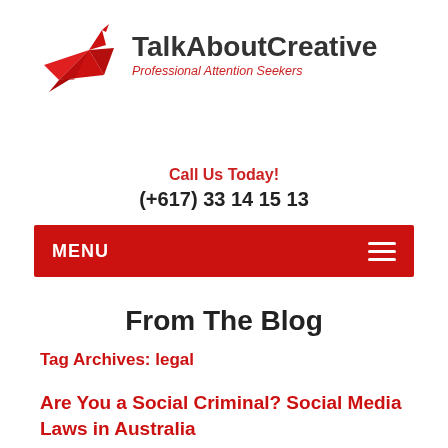[Figure (logo): TalkAboutCreative logo with red origami crane and company name. Tagline: Professional Attention Seekers.]
Call Us Today!
(+617) 33 14 15 13
MENU
From The Blog
Tag Archives: legal
Are You a Social Criminal? Social Media Laws in Australia